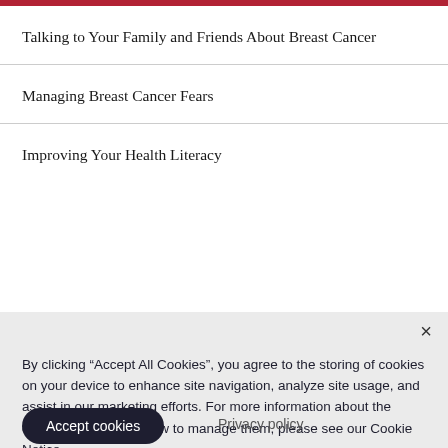Talking to Your Family and Friends About Breast Cancer
Managing Breast Cancer Fears
Improving Your Health Literacy
By clicking “Accept All Cookies”, you agree to the storing of cookies on your device to enhance site navigation, analyze site usage, and assist in our marketing efforts. For more information about the cookies we use and how to manage them, please see our Cookie Notice.
Accept cookies
Privacy policy